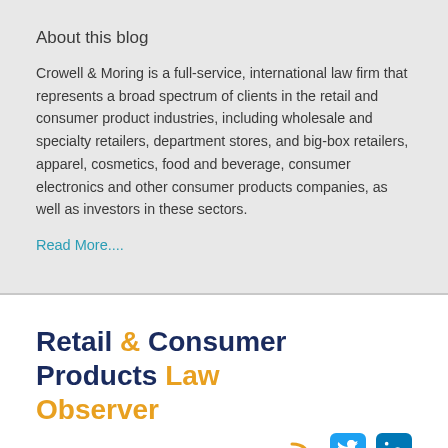About this blog
Crowell & Moring is a full-service, international law firm that represents a broad spectrum of clients in the retail and consumer product industries, including wholesale and specialty retailers, department stores, and big-box retailers, apparel, cosmetics, food and beverage, consumer electronics and other consumer products companies, as well as investors in these sectors.
Read More....
Retail & Consumer Products Law Observer